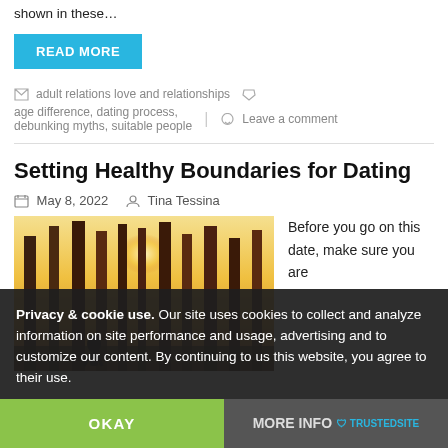shown in these…
READ MORE
adult relations love and relationships   age difference, dating process, debunking myths, suitable people   Leave a comment
Setting Healthy Boundaries for Dating
May 8, 2022   Tina Tessina
[Figure (photo): Forest photo with sunlight through trees]
Before you go on this date, make sure you are
Privacy & cookie use. Our site uses cookies to collect and analyze information on site performance and usage, advertising and to customize our content. By continuing to us this website, you agree to their use.
OKAY
MORE INFO